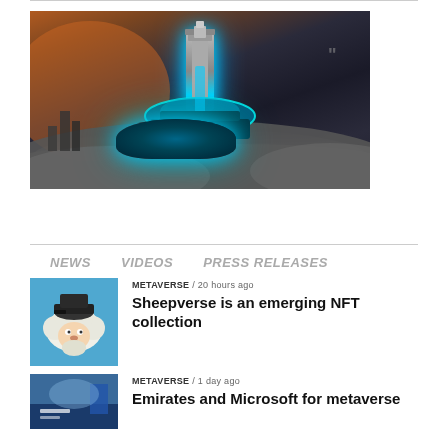[Figure (illustration): Fantasy/sci-fi illustration of a glowing blue futuristic tower or lighthouse structure hovering above clouds, with orange sky in the background]
NEWS    VIDEOS    PRESS RELEASES
[Figure (illustration): Cartoon illustration of a sheep character with a beard and viking/pirate hat, blue background]
METAVERSE / 20 hours ago
Sheepverse is an emerging NFT collection
[Figure (photo): Thumbnail image with blue tones, partial view]
METAVERSE / 1 day ago
Emirates and Microsoft for metaverse